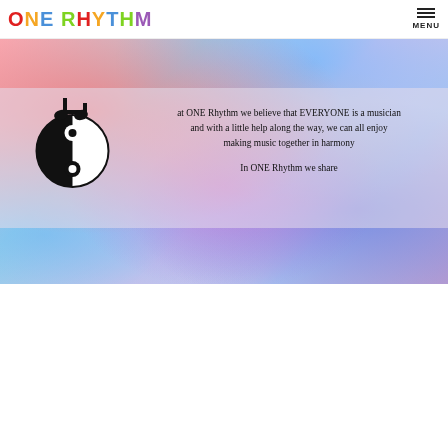ONE RHYTHM | MENU
[Figure (illustration): Colorful tie-dye background banner with a black circular music note yin-yang logo on the left, and text overlay reading: 'at ONE Rhythm we believe that EVERYONE is a musician and with a little help along the way, we can all enjoy making music together in harmony. In ONE Rhythm we share']
at ONE Rhythm we believe that EVERYONE is a musician and with a little help along the way, we can all enjoy making music together in harmony
In ONE Rhythm we share